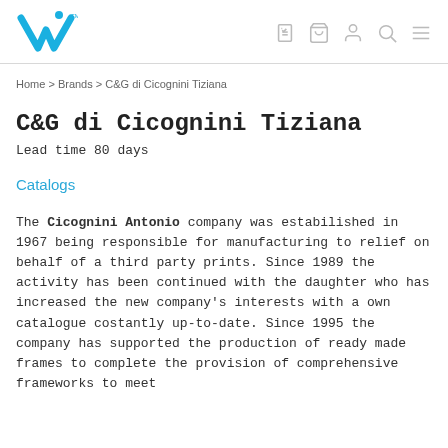vi [logo] [icons: wishlist, cart, account, search, menu]
Home > Brands > C&G di Cicognini Tiziana
C&G di Cicognini Tiziana
Lead time 80 days
Catalogs
The Cicognini Antonio company was estabilished in 1967 being responsible for manufacturing to relief on behalf of a third party prints. Since 1989 the activity has been continued with the daughter who has increased the new company's interests with a own catalogue costantly up-to-date. Since 1995 the company has supported the production of ready made frames to complete the provision of comprehensive frameworks to meet